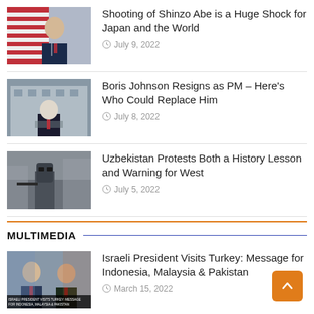[Figure (photo): Shinzo Abe speaking in front of flags]
Shooting of Shinzo Abe is a Huge Shock for Japan and the World
July 9, 2022
[Figure (photo): Boris Johnson speaking at a podium]
Boris Johnson Resigns as PM – Here's Who Could Replace Him
July 8, 2022
[Figure (photo): Masked armed soldier in urban setting]
Uzbekistan Protests Both a History Lesson and Warning for West
July 5, 2022
MULTIMEDIA
[Figure (photo): Israeli President and Turkish President, labeled 'Israeli President Visits Turkey: Message for Indonesia, Malaysia & Pakistan']
Israeli President Visits Turkey: Message for Indonesia, Malaysia & Pakistan
March 15, 2022
[Figure (photo): Close-up of a syringe or medical device]
Video: Who Controls Pandemic Data?